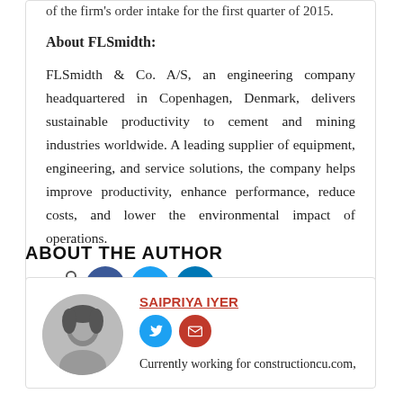of the firm's order intake for the first quarter of 2015.
About FLSmidth:
FLSmidth & Co. A/S, an engineering company headquartered in Copenhagen, Denmark, delivers sustainable productivity to cement and mining industries worldwide. A leading supplier of equipment, engineering, and service solutions, the company helps improve productivity, enhance performance, reduce costs, and lower the environmental impact of operations.
[Figure (infographic): Share icon followed by Facebook, Twitter, and LinkedIn social media circle buttons]
ABOUT THE AUTHOR
[Figure (photo): Black and white portrait photo of Saipriya Iyer]
SAIPRIYA IYER
[Figure (infographic): Twitter and email social media icon buttons for the author]
Currently working for constructioncu.com,